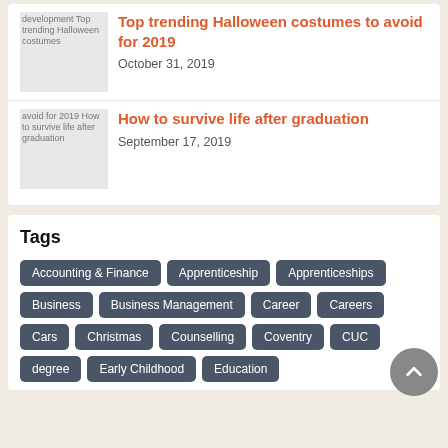[Figure (screenshot): Thumbnail image placeholder for 'Top trending Halloween costumes to avoid for 2019' article with alt text visible]
Top trending Halloween costumes to avoid for 2019
October 31, 2019
[Figure (screenshot): Thumbnail image placeholder for 'How to survive life after graduation' article with alt text visible]
How to survive life after graduation
September 17, 2019
Tags
Accounting & Finance
Apprenticeship
Apprenticeships
Business
Business Management
Career
Careers
Cars
Christmas
Counselling
Coventry
CUC
degree
Early Childhood
Education